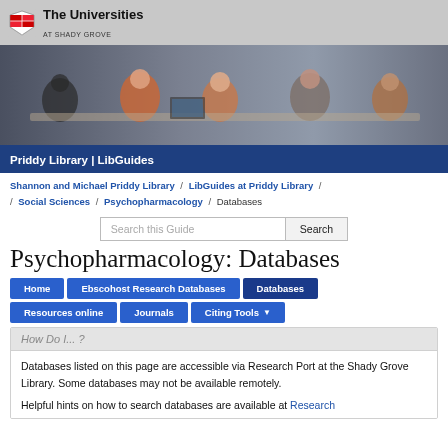The Universities at Shady Grove
[Figure (photo): Students sitting around a table working together in a library setting, with laptops and books visible]
Priddy Library | LibGuides
Shannon and Michael Priddy Library / LibGuides at Priddy Library / Social Sciences / Psychopharmacology / Databases
Search this Guide [Search button]
Psychopharmacology: Databases
Home | Ebscohost Research Databases | Databases | Resources online | Journals | Citing Tools
How Do I... ?
Databases listed on this page are accessible via Research Port at the Shady Grove Library. Some databases may not be available remotely.

Helpful hints on how to search databases are available at Research